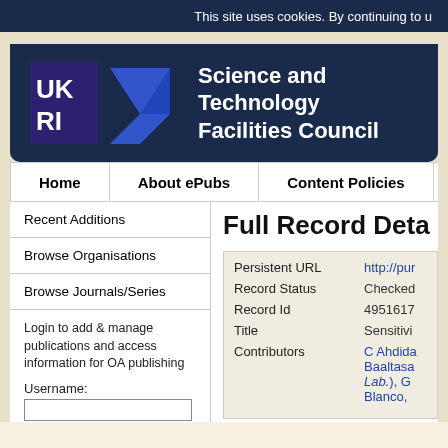This site uses cookies. By continuing to u
[Figure (logo): UKRI Science and Technology Facilities Council logo on dark navy background]
Home
About ePubs
Content Policies
Recent Additions
Browse Organisations
Browse Journals/Series
Login to add & manage publications and access information for OA publishing
Username:
Password:
Login
Full Record Deta
| Field | Value |
| --- | --- |
| Persistent URL | http://pur |
| Record Status | Checked |
| Record Id | 4951617 |
| Title | Sensitivi |
| Contributors | C Ahdida Baaltasa Lab.), G Blanco, |